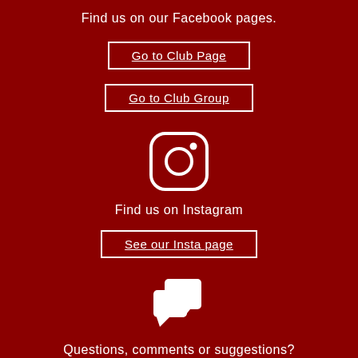Find us on our Facebook pages.
Go to Club Page
Go to Club Group
[Figure (logo): Instagram logo icon: rounded square outline with circle and dot, white on dark red background]
Find us on Instagram
See our Insta page
[Figure (illustration): Two overlapping speech/chat bubble icons in white, representing a comments/messaging feature]
Questions, comments or suggestions?